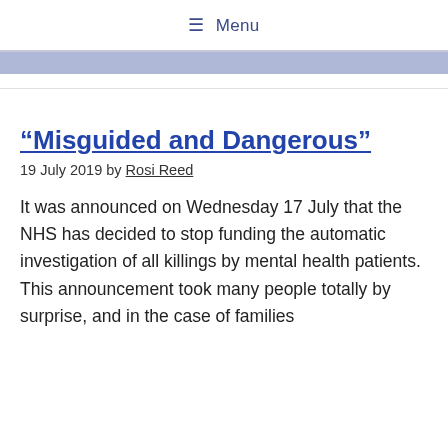≡ Menu
“Misguided and Dangerous”
19 July 2019 by Rosi Reed
It was announced on Wednesday 17 July that the NHS has decided to stop funding the automatic investigation of all killings by mental health patients. This announcement took many people totally by surprise, and in the case of families